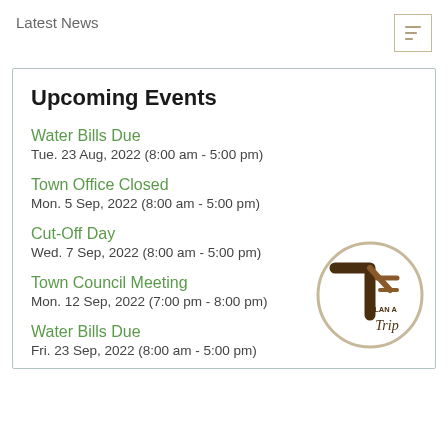Latest News
Upcoming Events
Water Bills Due
Tue. 23 Aug, 2022 (8:00 am - 5:00 pm)
Town Office Closed
Mon. 5 Sep, 2022 (8:00 am - 5:00 pm)
Cut-Off Day
Wed. 7 Sep, 2022 (8:00 am - 5:00 pm)
Town Council Meeting
Mon. 12 Sep, 2022 (7:00 pm - 8:00 pm)
Water Bills Due
Fri. 23 Sep, 2022 (8:00 am - 5:00 pm)
[Figure (logo): Plan A Trip logo sticker with stylized 'T' and trip text in brown tones]